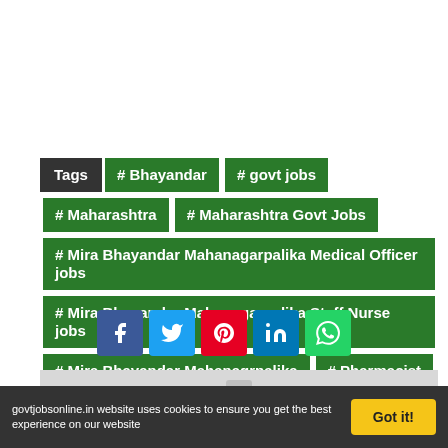Tags # Bhayandar # govt jobs # Maharashtra # Maharashtra Govt Jobs # Mira Bhayandar Mahanagarpalika Medical Officer jobs # Mira Bhayandar Mahanagarpalika Staff Nurse jobs # Mira Bhayandar Mahanagrpalika # Pharmacist
[Figure (other): Social share buttons: Facebook, Twitter, Pinterest, LinkedIn, WhatsApp]
[Figure (photo): Placeholder image with grey background and camera icon]
govtjobsonline.in website uses cookies to ensure you get the best experience on our website